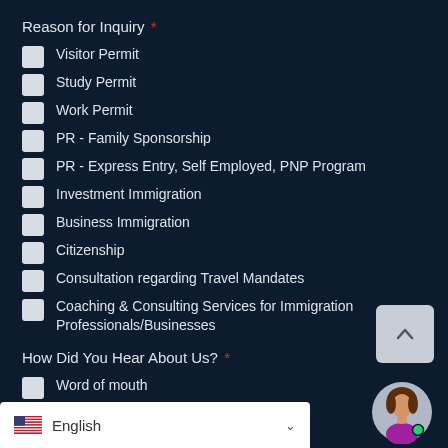Reason for Inquiry *
Visitor Permit
Study Permit
Work Permit
PR - Family Sponsorship
PR - Express Entry, Self Employed, PNP Program
Investment Immigration
Business Immigration
Citizenship
Consultation regarding Travel Mandates
Coaching & Consulting Services for Immigration Professionals/Businesses
How Did You Hear About Us? *
Word of mouth
Google
Yelp
English